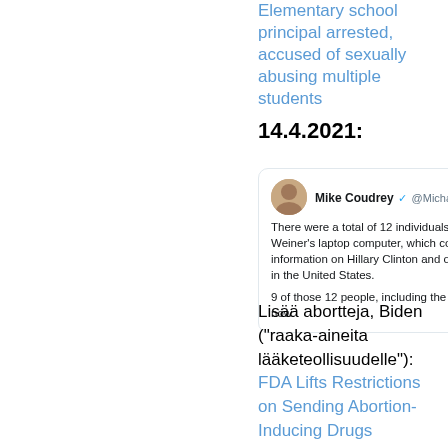Elementary school principal arrested, accused of sexually abusing multiple students
14.4.2021:
[Figure (screenshot): Tweet from Mike Coudrey (@MichaelC...) dated Feb 3. Text: 'There were a total of 12 individuals who saw Anthony Weiner's laptop computer, which contained incriminating information on Hillary Clinton and other powerful individuals in the United States. 9 of those 12 people, including the NYPD officers, are dead now.']
Lisää abortteja, Biden ("raaka-aineita lääketeollisuudelle"): FDA Lifts Restrictions on Sending Abortion-Inducing Drugs Through Mail (Lisää aiheesta uutisissani hakusanalla planned parenthood)
Omat lapset ensin ja EI ihmiskaupalle: SC Governor Blocks Biden Administration From Bringing Unaccompanied Children